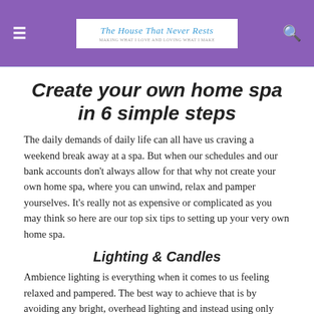The House That Never Rests — MAKING WHAT I LOVE AND LOVING WHAT I MAKE
Create your own home spa in 6 simple steps
The daily demands of daily life can all have us craving a weekend break away at a spa. But when our schedules and our bank accounts don't always allow for that why not create your own home spa, where you can unwind, relax and pamper yourselves. It's really not as expensive or complicated as you may think so here are our top six tips to setting up your very own home spa.
Lighting & Candles
Ambience lighting is everything when it comes to us feeling relaxed and pampered. The best way to achieve that is by avoiding any bright, overhead lighting and instead using only subtle lamps and candles. With a couple of lamps and candles around the room it will instantly transform any living space into